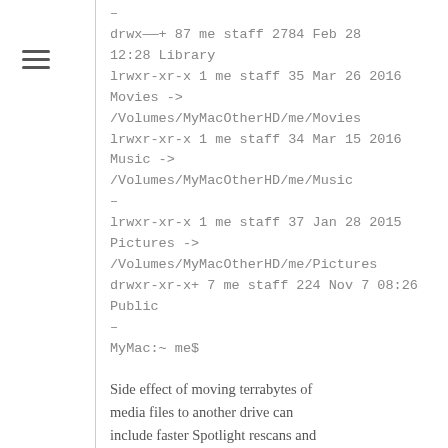–
drwx——+ 87 me staff 2784 Feb 28 12:28 Library
lrwxr-xr-x 1 me staff 35 Mar 26 2016 Movies -> /Volumes/MyMacOtherHD/me/Movies
lrwxr-xr-x 1 me staff 34 Mar 15 2016 Music -> /Volumes/MyMacOtherHD/me/Music
–
lrwxr-xr-x 1 me staff 37 Jan 28 2015 Pictures -> /Volumes/MyMacOtherHD/me/Pictures
drwxr-xr-x+ 7 me staff 224 Nov 7 08:26 Public
–
MyMac:~ me$
Side effect of moving terrabytes of media files to another drive can include faster Spotlight rescans and